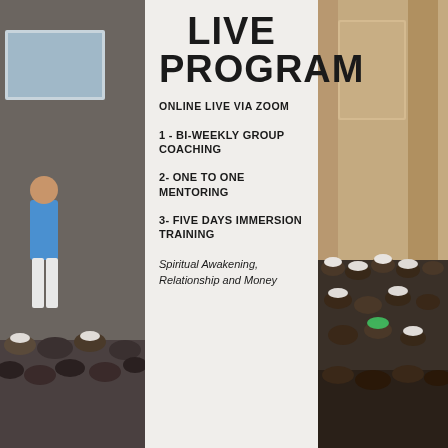[Figure (photo): Left photo: A man in blue shirt presenting to a seated audience in a classroom/auditorium]
LIVE PROGRAM
ONLINE LIVE VIA ZOOM
1 - BI-WEEKLY GROUP COACHING
2- ONE TO ONE MENTORING
3- FIVE DAYS IMMERSION TRAINING
Spiritual Awakening, Relationship and Money
[Figure (photo): Right photo: Audience seated in rows in a large auditorium, many wearing white caps]